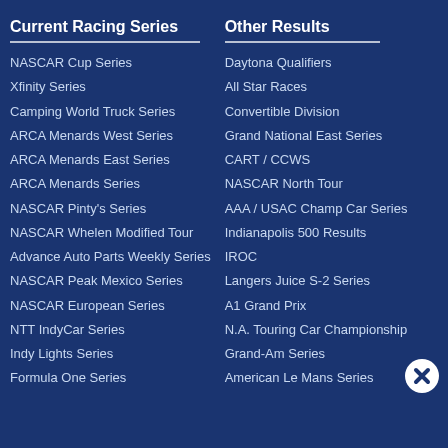Current Racing Series
NASCAR Cup Series
Xfinity Series
Camping World Truck Series
ARCA Menards West Series
ARCA Menards East Series
ARCA Menards Series
NASCAR Pinty's Series
NASCAR Whelen Modified Tour
Advance Auto Parts Weekly Series
NASCAR Peak Mexico Series
NASCAR European Series
NTT IndyCar Series
Indy Lights Series
Formula One Series
Other Results
Daytona Qualifiers
All Star Races
Convertible Division
Grand National East Series
CART / CCWS
NASCAR North Tour
AAA / USAC Champ Car Series
Indianapolis 500 Results
IROC
Langers Juice S-2 Series
A1 Grand Prix
N.A. Touring Car Championship
Grand-Am Series
American Le Mans Series